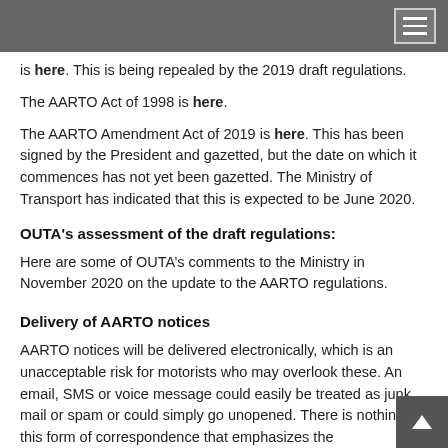is here. This is being repealed by the 2019 draft regulations.
The AARTO Act of 1998 is here.
The AARTO Amendment Act of 2019 is here. This has been signed by the President and gazetted, but the date on which it commences has not yet been gazetted. The Ministry of Transport has indicated that this is expected to be June 2020.
OUTA's assessment of the draft regulations:
Here are some of OUTA’s comments to the Ministry in November 2020 on the update to the AARTO regulations.
Delivery of AARTO notices
AARTO notices will be delivered electronically, which is an unacceptable risk for motorists who may overlook these. An email, SMS or voice message could easily be treated as junk mail or spam or could simply go unopened. There is nothing in this form of correspondence that emphasizes the